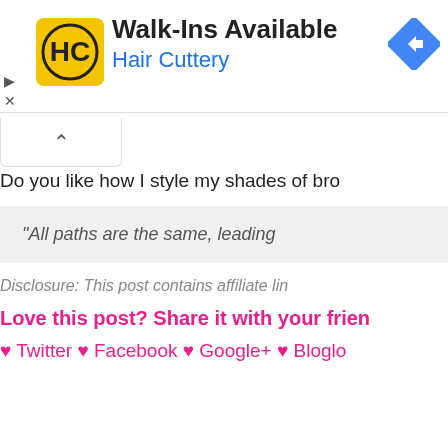[Figure (screenshot): Hair Cuttery advertisement banner with yellow HC logo, title 'Walk-Ins Available', subtitle 'Hair Cuttery', and a blue diamond direction arrow icon on the right]
Do you like how I style my shades of bro
“All paths are the same, leading
Disclosure: This post contains affiliate lin
Love this post? Share it with your frien
♥ Twitter ♥ Facebook ♥ Google+ ♥ Bloglo